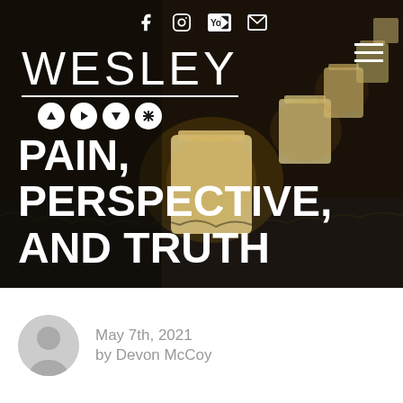[Figure (screenshot): Hero image of illuminated white candle lanterns in a dark outdoor setting with warm amber tones]
Social media icons: Facebook, Instagram, YouTube, Email
WESLEY (logo with navigation icons)
PAIN, PERSPECTIVE, AND TRUTH
May 7th, 2021
by Devon McCoy